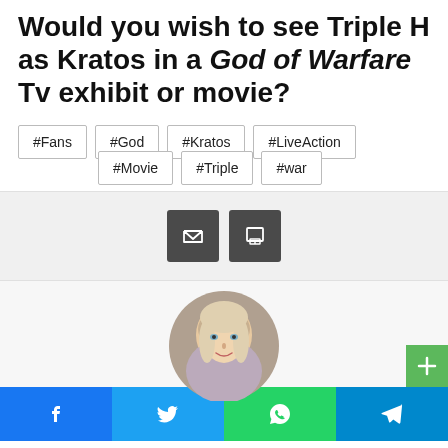Would you wish to see Triple H as Kratos in a God of Warfare Tv exhibit or movie?
#Fans
#God
#Kratos
#LiveAction
#Movie
#Triple
#war
[Figure (infographic): Email and print share buttons on a grey background]
[Figure (photo): Circular cropped photo of a young blonde woman author]
[Figure (infographic): Social share bar with Facebook, Twitter, WhatsApp, and Telegram icons]